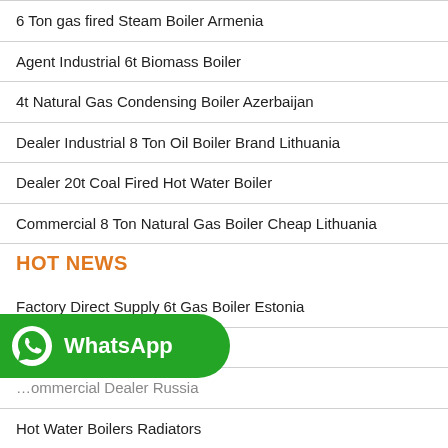6 Ton gas fired Steam Boiler Armenia
Agent Industrial 6t Biomass Boiler
4t Natural Gas Condensing Boiler Azerbaijan
Dealer Industrial 8 Ton Oil Boiler Brand Lithuania
Dealer 20t Coal Fired Hot Water Boiler
Commercial 8 Ton Natural Gas Boiler Cheap Lithuania
HOT NEWS
Factory Direct Supply 6t Gas Boiler Estonia
...achine Belarus
...ommercial Dealer Russia
Hot Water Boilers Radiators
[Figure (logo): WhatsApp logo button overlay — green rounded rectangle with WhatsApp icon and text 'WhatsApp']